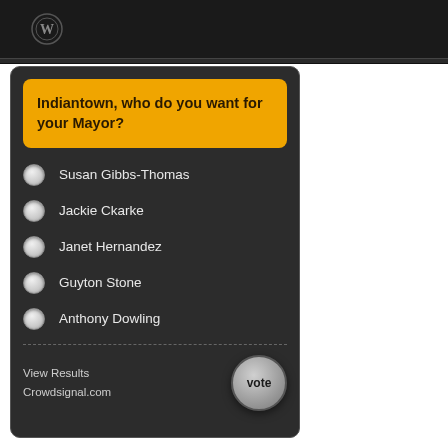Indiantown, who do you want for your Mayor?
Susan Gibbs-Thomas
Jackie Ckarke
Janet Hernandez
Guyton Stone
Anthony Dowling
View Results
Crowdsignal.com